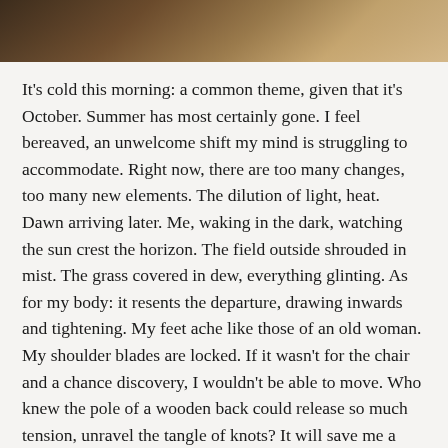[Figure (photo): Partial photo strip at top of page showing a figure with warm brown and golden tones, appears to be a person outdoors]
It's cold this morning: a common theme, given that it's October. Summer has most certainly gone. I feel bereaved, an unwelcome shift my mind is struggling to accommodate. Right now, there are too many changes, too many new elements. The dilution of light, heat. Dawn arriving later. Me, waking in the dark, watching the sun crest the horizon. The field outside shrouded in mist. The grass covered in dew, everything glinting. As for my body: it resents the departure, drawing inwards and tightening. My feet ache like those of an old woman. My shoulder blades are locked. If it wasn't for the chair and a chance discovery, I wouldn't be able to move. Who knew the pole of a wooden back could release so much tension, unravel the tangle of knots? It will save me a fortune in physical therapy, although I shall miss my masseur. At any rate, it is a positive to celebrate amongst a bumpy run of events.
September and October have been challenging, forcing much